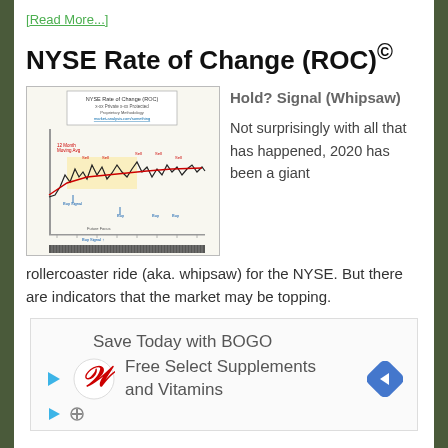[Read More...]
NYSE Rate of Change (ROC)©
[Figure (continuous-plot): NYSE Rate of Change (ROC) chart showing price line with buy/sell signals, 12-month moving average, and annotations for signal dates over a multi-year period]
Hold? Signal (Whipsaw)
Not surprisingly with all that has happened, 2020 has been a giant rollercoaster ride (aka. whipsaw) for the NYSE. But there are indicators that the market may be topping.
[Figure (infographic): Advertisement for Walgreens: Save Today with BOGO Free Select Supplements and Vitamins, with Walgreens logo and navigation arrow icon]